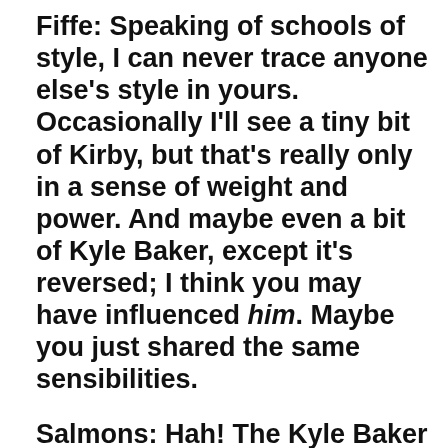Fiffe: Speaking of schools of style, I can never trace anyone else's style in yours. Occasionally I'll see a tiny bit of Kirby, but that's really only in a sense of weight and power. And maybe even a bit of Kyle Baker, except it's reversed; I think you may have influenced him. Maybe you just shared the same sensibilities.
Salmons: Hah! The Kyle Baker thing! It's funny because...